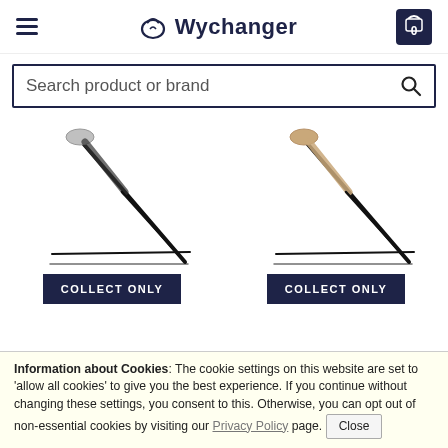Wychanger
Search product or brand
[Figure (photo): Black riding whip/crop with silver handle top, shown diagonally]
[Figure (photo): Tan/beige riding whip/crop with rose gold handle top, shown diagonally]
COLLECT ONLY
COLLECT ONLY
Information about Cookies: The cookie settings on this website are set to 'allow all cookies' to give you the best experience. If you continue without changing these settings, you consent to this. Otherwise, you can opt out of non-essential cookies by visiting our Privacy Policy page. Close